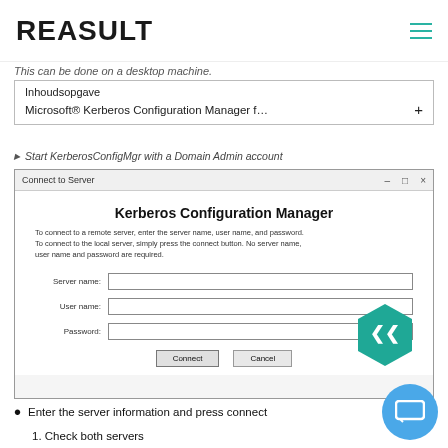REASULT
This can be done on a desktop machine.
Inhoudsopgave
Microsoft® Kerberos Configuration Manager f… +
Start KerberosConfigMgr with a Domain Admin account
[Figure (screenshot): Kerberos Configuration Manager dialog box showing fields for Server name, User name, and Password with Connect and Cancel buttons]
Enter the server information and press connect
1. Check both servers
Now you can verify if the SPNs with correct Delegation...